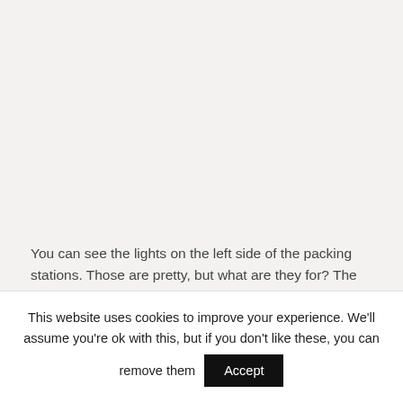You can see the lights on the left side of the packing stations. Those are pretty, but what are they for? The lights help to improve productivity using an Andon system
This website uses cookies to improve your experience. We'll assume you're ok with this, but if you don't like these, you can remove them